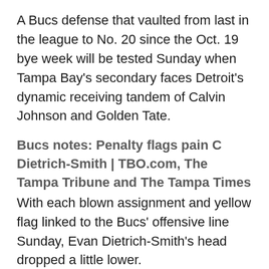A Bucs defense that vaulted from last in the league to No. 20 since the Oct. 19 bye week will be tested Sunday when Tampa Bay's secondary faces Detroit's dynamic receiving tandem of Calvin Johnson and Golden Tate.
Bucs notes: Penalty flags pain C Dietrich-Smith | TBO.com, The Tampa Tribune and The Tampa Times
With each blown assignment and yellow flag linked to the Bucs' offensive line Sunday, Evan Dietrich-Smith's head dropped a little lower.
Numbers don't measure up for Bucs QB McCown | TBO.com, The Tampa Tribune and The Tampa Times
Quarterback Josh McCown was expected to bring